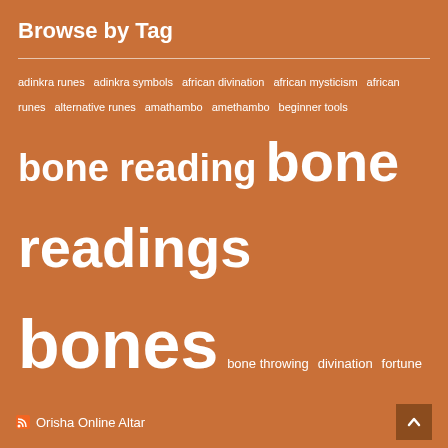Browse by Tag
adinkra runes adinkra symbols african divination african mysticism african runes alternative runes amathambo amethambo beginner tools bone reading bone readings bones bone throwing divination fortune teller fortune telling free free reading hoodoo hoodoo bone reading hoodoo divination jaadu jadoo love obeah orisha orisha runes protection readings reading stones reading the bones rootwork rune runes spell stones throw bones throwing bones vodou vodou runes vodun vodun runes voodoo voodoo runes wicca
Orisha Online Altar